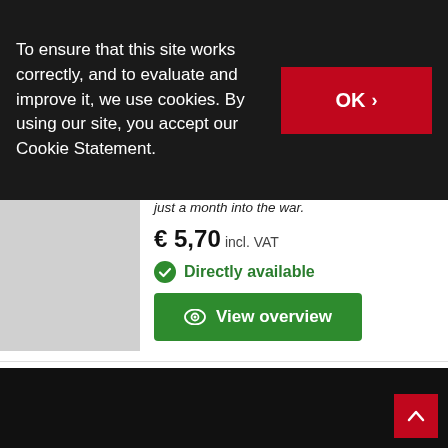To ensure that this site works correctly, and to evaluate and improve it, we use cookies. By using our site, you accept our Cookie Statement.
just a month into the war.
€ 5,70 incl. VAT
Directly available
View overview
1  2  Next one  >